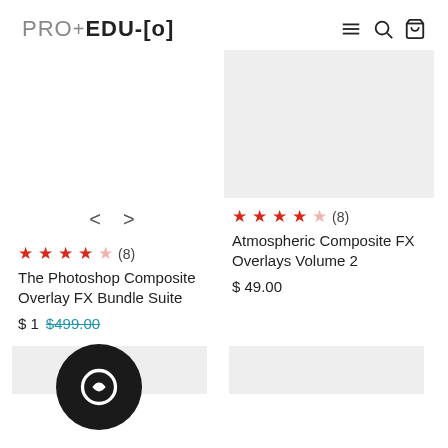PRO+EDU[o]
[Figure (screenshot): Product image placeholder (gray rectangle) for Atmospheric Composite FX Overlays Volume 2]
★★★★☆ (8)
Atmospheric Composite FX Overlays Volume 2
$ 49.00
★★★★☆ (8)
The Photoshop Composite Overlay FX Bundle Suite
$ 1__ $499.00